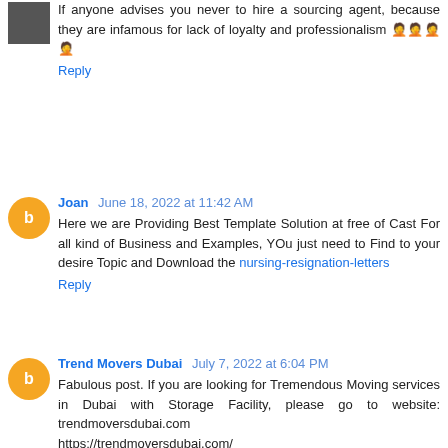If anyone advises you never to hire a sourcing agent, because they are infamous for lack of loyalty and professionalism 🤦🤦🤦🤦
Reply
Joan  June 18, 2022 at 11:42 AM
Here we are Providing Best Template Solution at free of Cast For all kind of Business and Examples, YOu just need to Find to your desire Topic and Download the nursing-resignation-letters
Reply
Trend Movers Dubai  July 7, 2022 at 6:04 PM
Fabulous post. If you are looking for Tremendous Moving services in Dubai with Storage Facility, please go to website: trendmoversdubai.com
https://trendmoversdubai.com/
WWW.TRENDMOVERSDUBAI.COM